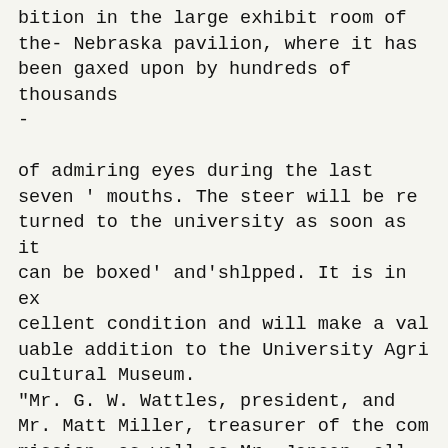Linger, and place the same in exhi-bition in the large exhibit room of the- Nebraska pavilion, where it has been gaxed upon by hundreds of thousands -
of admiring eyes during the last seven ' mouths. The steer will be re turned to the university as soon as it can be boxed' and'shlpped. It is in ex cellent condition and will make a val uable addition to the University Agri cultural Museum.
"Mr. G. W. Wattles, president, and Mr. Matt Miller, treasurer of the com mission, as well as Mr. Jansen, all be lieve in the ability and energy of uni-e rsitytralneaV-men,
and acting upon
this beliof have chosen over two-thirds of the e.uploycs in -the Nebraska ex